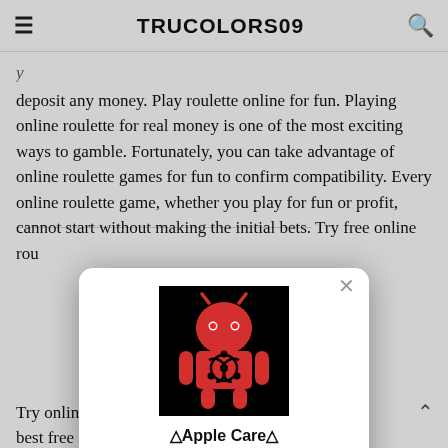TRUCOLORS09
deposit any money. Play roulette online for fun. Playing online roulette for real money is one of the most exciting ways to gamble. Fortunately, you can take advantage of online roulette games for fun to confirm compatibility. Every online roulette game, whether you play for fun or profit, cannot start without making the initial bets. Try free online rou
[Figure (screenshot): Fake virus warning popup modal dialog with a red Android robot icon with a biohazard symbol, titled '⚠Apple Care⚠', message 'VIRUS detected(5) Scan your system immediately🔒', and a blue OK button. Has a close X in top right.]
Try online ... cover the best free ... to play them. Inst ... er generator ... only version. P... & rc money modes available generous casino bonuses no